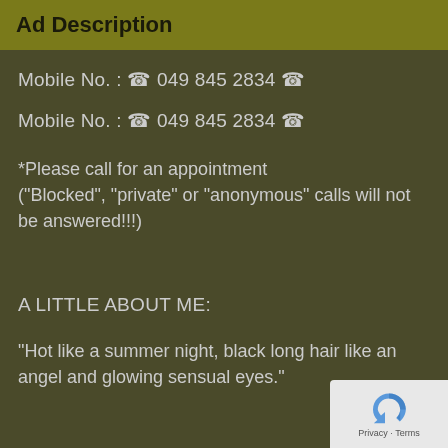Ad Description
Mobile No. : ☎ 049 845 2834 ☎
Mobile No. : ☎ 049 845 2834 ☎
*Please call for an appointment ("Blocked", "private" or "anonymous" calls will not be answered!!!)
A LITTLE ABOUT ME:
"Hot like a summer night, black long hair like an angel and glowing sensual eyes."
[Figure (other): reCAPTCHA privacy badge overlay in bottom-right corner]